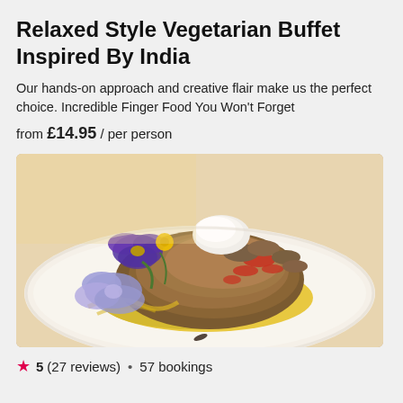Relaxed Style Vegetarian Buffet Inspired By India
Our hands-on approach and creative flair make us the perfect choice. Incredible Finger Food You Won't Forget
from £14.95 / per person
[Figure (photo): A plated Indian vegetarian dish on a white plate with yellow sauce, mushrooms, red peppers, and purple/blue edible flowers as garnish, with a white cream topping.]
★ 5 (27 reviews) • 57 bookings